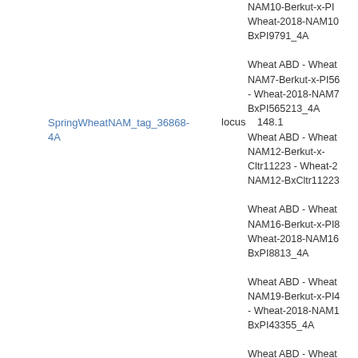NAM10-Berkut-x-PI - Wheat-2018-NAM10-BxPI9791_4A
SpringWheatNAM_tag_36868-4A    locus    148.1
Wheat ABD - Wheat NAM7-Berkut-x-PI56 - Wheat-2018-NAM7-BxPI565213_4A
Wheat ABD - Wheat NAM12-Berkut-x-Cltr11223 - Wheat-2018-NAM12-BxCltr11223
Wheat ABD - Wheat NAM16-Berkut-x-PI8 - Wheat-2018-NAM16-BxPI8813_4A
Wheat ABD - Wheat NAM19-Berkut-x-PI4 - Wheat-2018-NAM19-BxPI43355_4A
Wheat ABD - Wheat NAM1-Berkut-x-DharwarDry - Wheat-2018-NAM1-BxDharwarDry_4A
Wheat ABD - Wheat NAM23-Berkut-x-